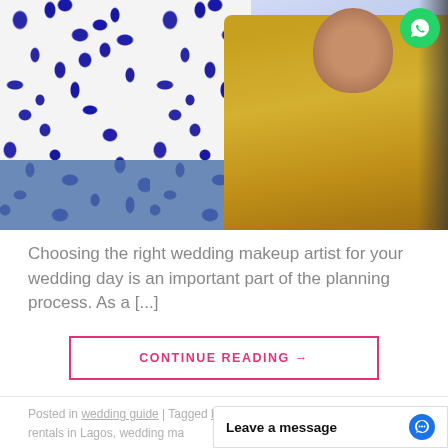[Figure (photo): A makeup artist in a blue and white floral shirt applying makeup to a woman in a yellow/gold top in what appears to be a salon or dressing room. A WhatsApp button is visible in the top right corner of the image.]
Choosing the right wedding makeup artist for your wedding day is an important part of the planning process. As a [...]
CONTINUE READING →
Posted in wedding guide | Tagged bridal accessories, wedding gown rentals in Lagos, wedding ma
Leave a message